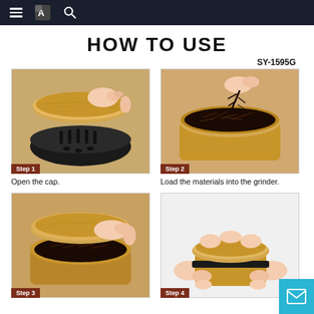Navigation bar with menu, logo, and search icons
HOW TO USE
SY-1595G
[Figure (photo): Step 1 - Hand opening the cap of a wooden herb grinder, showing the top and grinding chamber.]
Open the cap.
[Figure (photo): Step 2 - Hand loading dark dried herbs/materials into the open grinder with teeth visible.]
Load the materials into the grinder.
[Figure (photo): Step 3 - Hand placing the wooden cap back on top of the grinder filled with materials.]
[Figure (photo): Step 4 - Two hands holding the assembled wooden grinder, ready to twist/grind.]